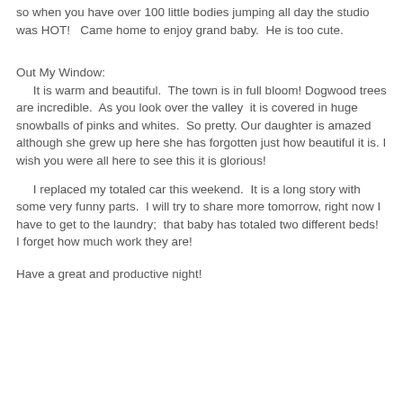so when you have over 100 little bodies jumping all day the studio was HOT!  Came home to enjoy grand baby.  He is too cute.
Out My Window:
It is warm and beautiful.  The town is in full bloom! Dogwood trees are incredible.  As you look over the valley  it is covered in huge snowballs of pinks and whites.  So pretty.  Our daughter is amazed although she grew up here she has forgotten just how beautiful it is. I wish you were all here to see this it is glorious!
I replaced my totaled car this weekend.  It is a long story with some very funny parts.  I will try to share more tomorrow, right now I have to get to the laundry;  that baby has totaled two different beds!  I forget how much work they are!
Have a great and productive night!